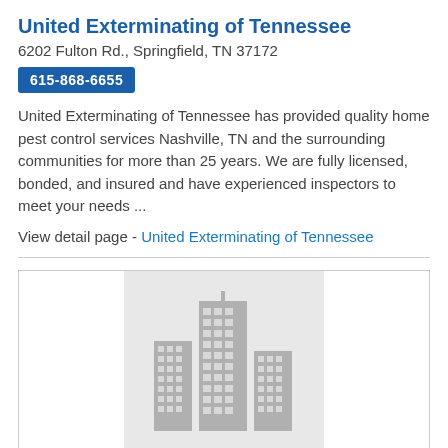United Exterminating of Tennessee
6202 Fulton Rd., Springfield, TN 37172
615-868-6655
United Exterminating of Tennessee has provided quality home pest control services Nashville, TN and the surrounding communities for more than 25 years. We are fully licensed, bonded, and insured and have experienced inspectors to meet your needs ...
View detail page - United Exterminating of Tennessee
[Figure (illustration): Placeholder image showing a city skyline silhouette with multiple buildings in gray]
CF Vapor Steam Cleaning
212 May Drive, Madison, TN 37115
615-357-0486